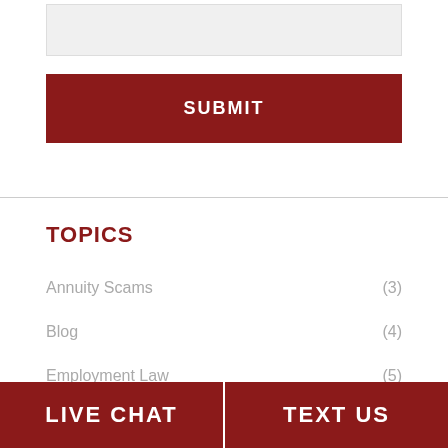[Figure (screenshot): Grey input text box area at the top of the page]
SUBMIT
TOPICS
Annuity Scams (3)
Blog (4)
Employment Law (5)
Investment Fraud (69)
LIVE CHAT
TEXT US